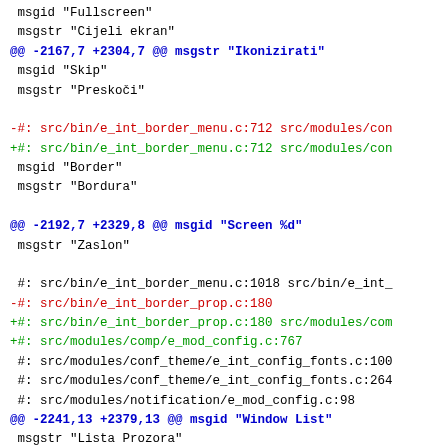Diff/patch output showing changes to a localization (.po) file with msgid/msgstr entries and file references. Colors indicate: black=context, blue=hunk headers, red=removed lines, green=added lines.